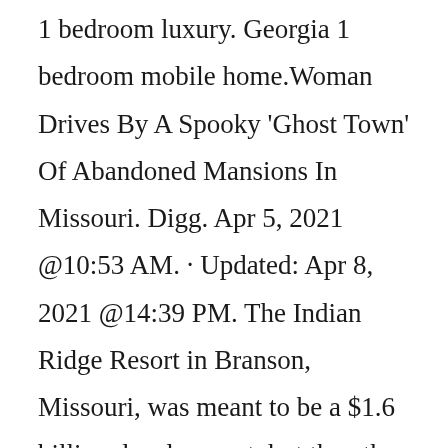1 bedroom luxury. Georgia 1 bedroom mobile home.Woman Drives By A Spooky 'Ghost Town' Of Abandoned Mansions In Missouri. Digg. Apr 5, 2021 @10:53 AM. · Updated: Apr 8, 2021 @14:39 PM. The Indian Ridge Resort in Branson, Missouri, was meant to be a $1.6 billion development, but then the financial crisis happened, followed by news that a few people involved in the project were conspiring to ...Elizabeth was the aunt of the great